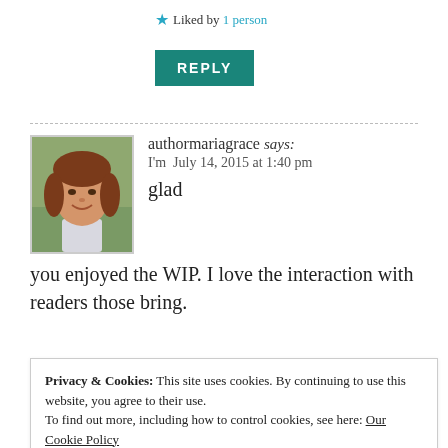★ Liked by 1 person
REPLY
[Figure (photo): Avatar photo of authormariagrace — a woman with curly reddish-brown hair, smiling, in a square framed photo]
authormariagrace says:
I'm  July 14, 2015 at 1:40 pm
glad
you enjoyed the WIP. I love the interaction with readers those bring.
★ Liked by 1 person
Privacy & Cookies: This site uses cookies. By continuing to use this website, you agree to their use.
To find out more, including how to control cookies, see here: Our Cookie Policy
Close and accept
Beatrice says: